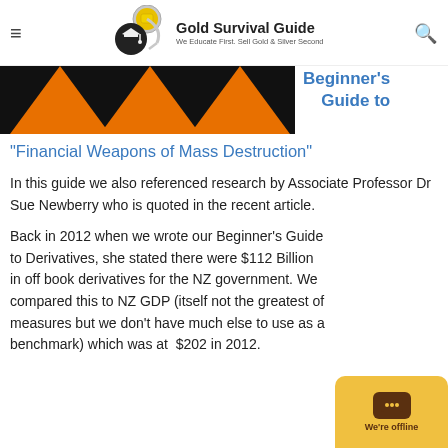Gold Survival Guide — We Educate First. Sell Gold & Silver Second
[Figure (illustration): Black background banner image with orange triangle/arrow shapes, partial view. To the right: blue link text 'Beginner's Guide to']
"Financial Weapons of Mass Destruction"
In this guide we also referenced research by Associate Professor Dr Sue Newberry who is quoted in the recent article.
Back in 2012 when we wrote our Beginner's Guide to Derivatives, she stated there were $112 Billion in off book derivatives for the NZ government. We compared this to NZ GDP (itself not the greatest of measures but we don't have much else to use as a benchmark) which was at $202 in 2012.